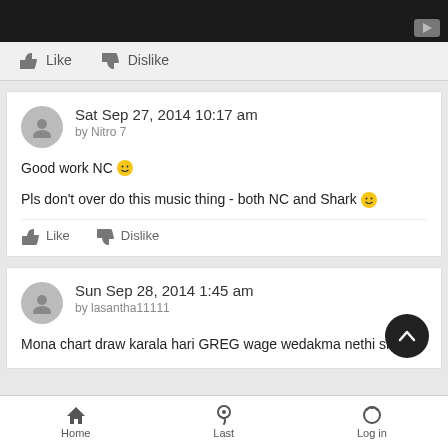[Figure (screenshot): Top portion of a video thumbnail with dark background and play button]
Like   Dislike
Sat Sep 27, 2014 10:17 am
by Nitro 7

Good work NC 🙂

Pls don't over do this music thing - both NC and Shark 🙂
Like   Dislike
Sun Sep 28, 2014 1:45 am
by lasantha11111

Mona chart draw karala hari GREG wage wedakma nethi shares
Home   Last   Log in